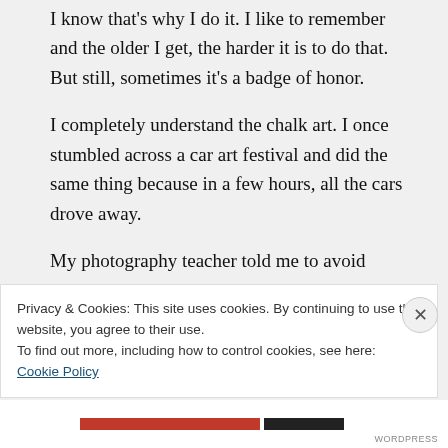I know that's why I do it. I like to remember and the older I get, the harder it is to do that. But still, sometimes it's a badge of honor.
I completely understand the chalk art. I once stumbled across a car art festival and did the same thing because in a few hours, all the cars drove away.
My photography teacher told me to avoid living through the lens by absorbing the
Privacy & Cookies: This site uses cookies. By continuing to use this website, you agree to their use.
To find out more, including how to control cookies, see here: Cookie Policy
Close and accept